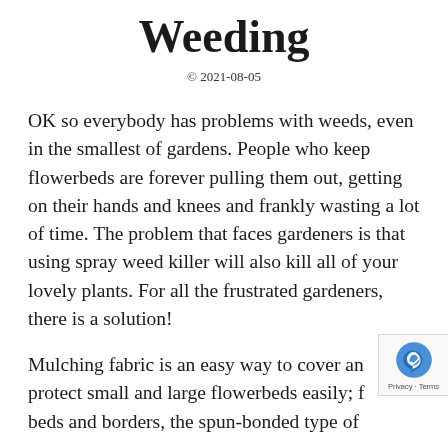Weeding
© 2021-08-05
OK so everybody has problems with weeds, even in the smallest of gardens. People who keep flowerbeds are forever pulling them out, getting on their hands and knees and frankly wasting a lot of time. The problem that faces gardeners is that using spray weed killer will also kill all of your lovely plants. For all the frustrated gardeners, there is a solution!
Mulching fabric is an easy way to cover and protect small and large flowerbeds easily; for beds and borders, the spun-bonded type of